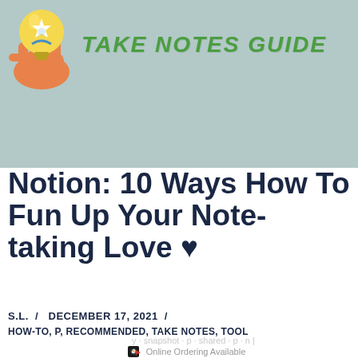[Figure (logo): Hand holding a glowing yellow lightbulb with a star, colorful cartoon logo for Take Notes Guide]
TAKE NOTES GUIDE
Notion: 10 Ways How To Fun Up Your Note-taking Love ♥
S.L.  /  DECEMBER 17, 2021  /
HOW-TO, P, RECOMMENDED, TAKE NOTES, TOOL
[Figure (screenshot): Advertisement area with small app icons and 'Online Ordering Available' text]